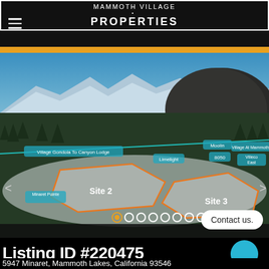MAMMOTH VILLAGE PROPERTIES
[Figure (photo): Aerial drone photo of Mammoth Lakes, California showing Site 2 and Site 3 land parcels outlined in orange, surrounded by snow-covered forest and mountains. Various property labels in teal/cyan overlays: Village Gondola to Canyon Lodge, Moolin, Limelight, Village At Mammoth, 8050, Village East, Minaret Pointe, Villeco East, and others. Navigation dots at bottom with first dot highlighted in gold/orange.]
Contact us.
Listing ID #220475
5947 Minaret, Mammoth Lakes, California 93546